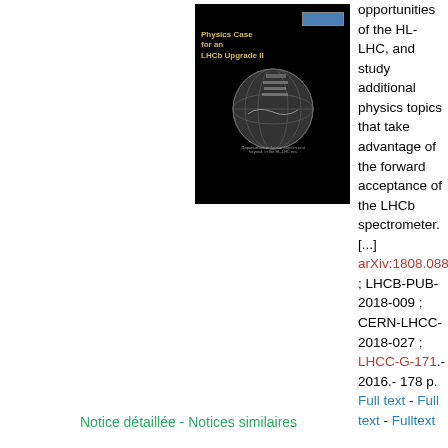[Figure (photo): Book cover of 'Physics Case for an LHCb Upgrade II' showing title in gold text on black background with a globe/detector image, subtitle about opportunities in flavour physics in HL-LHC era]
opportunities of the HL-LHC, and study additional physics topics that take advantage of the forward acceptance of the LHCb spectrometer. [...] arXiv:1808.08865 ; LHCB-PUB-2018-009 ; CERN-LHCC-2018-027 ; LHCC-G-171.- 2016.- 178 p. Full text - Full text - Fulltext
Notice détaillée - Notices similaires